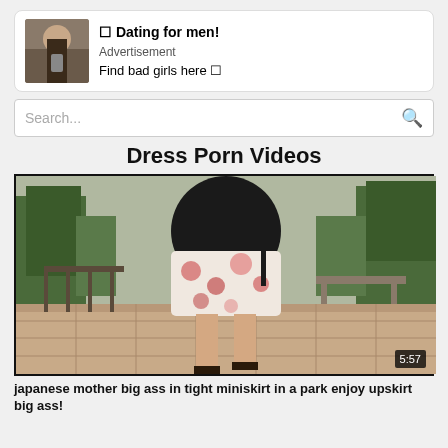[Figure (screenshot): Ad banner with photo of person and text: Dating for men! Advertisement Find bad girls here]
Search...
Dress Porn Videos
[Figure (screenshot): Video thumbnail showing outdoor park scene, duration 5:57]
japanese mother big ass in tight miniskirt in a park enjoy upskirt big ass!